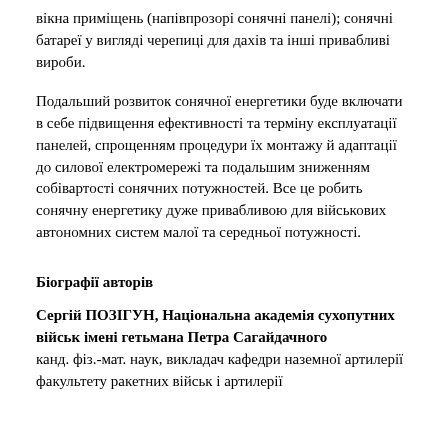вікна приміщень (напівпрозорі сонячні панелі); сонячні батареї у вигляді черепиці для дахів та інші привабливі вироби.
Подальший розвиток сонячної енергетики буде включати в себе підвищення ефективності та терміну експлуатації панелей, спрощенням процедури їх монтажу й адаптації до силової електромережі та подальшим зниженням собівартості сонячних потужностей. Все це робить сонячну енергетику дуже привабливою для військових автономних систем малої та середньої потужності.
Біографії авторів
Сергій ПОЗІГУН, Національна академія сухопутних військ імені гетьмана Петра Сагайдачного канд. фіз.-мат. наук, викладач кафедри наземної артилерії факультету ракетних військ і артилерії